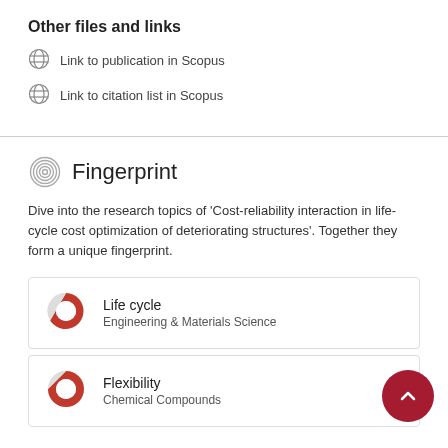Other files and links
Link to publication in Scopus
Link to citation list in Scopus
Fingerprint
Dive into the research topics of 'Cost-reliability interaction in life-cycle cost optimization of deteriorating structures'. Together they form a unique fingerprint.
Life cycle
Engineering & Materials Science
Flexibility
Chemical Compounds